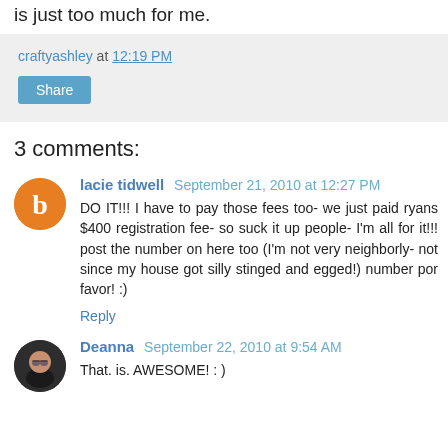is just too much for me.
craftyashley at 12:19 PM
Share
3 comments:
lacie tidwell September 21, 2010 at 12:27 PM
DO IT!!! I have to pay those fees too- we just paid ryans $400 registration fee- so suck it up people- I'm all for it!!! post the number on here too (I'm not very neighborly- not since my house got silly stinged and egged!) number por favor! :)
Reply
Deanna September 22, 2010 at 9:54 AM
That. is. AWESOME! : )